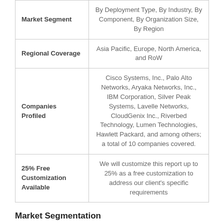|  |  |
| --- | --- |
| Market Segment | By Deployment Type, By Industry, By Component, By Organization Size, By Region |
| Regional Coverage | Asia Pacific, Europe, North America, and RoW |
| Companies Profiled | Cisco Systems, Inc., Palo Alto Networks, Aryaka Networks, Inc., IBM Corporation, Silver Peak Systems, Lavelle Networks, CloudGenix Inc., Riverbed Technology, Lumen Technologies, Hawlett Packard, and among others; a total of 10 companies covered. |
| 25% Free Customization Available | We will customize this report up to 25% as a free customization to address our client's specific requirements |
Market Segmentation